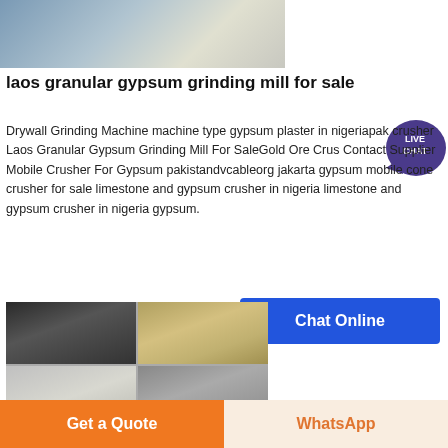[Figure (photo): Partial view of industrial grinding mill equipment, top portion cut off]
laos granular gypsum grinding mill for sale
Drywall Grinding Machine machine type gypsum plaster in nigeriapak crusher Laos Granular Gypsum Grinding Mill For SaleGold Ore Crus Contact Supplier Mobile Crusher For Gypsum pakistandvcableorg jakarta gypsum mobile cone crusher for sale limestone and gypsum crusher in nigeria limestone and gypsum crusher in nigeria gypsum.
[Figure (illustration): Live Chat badge with speech bubble icon in dark purple]
[Figure (photo): Four-panel collage of industrial gypsum grinding mill machinery]
Chat Online
Get a Quote
WhatsApp